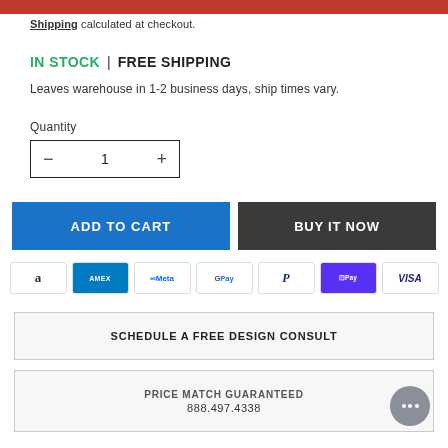USE CODE BONUS AT CHECKOUT FOR 10% OFF LIGHTING
Shipping calculated at checkout.
IN STOCK | FREE SHIPPING
Leaves warehouse in 1-2 business days, ship times vary.
Quantity
1
ADD TO CART
BUY IT NOW
[Figure (other): Payment icons: Amazon, AMEX, Meta, Google Pay, PayPal, ShopPay, Visa]
SCHEDULE A FREE DESIGN CONSULT
PRICE MATCH GUARANTEED
888.497.4338